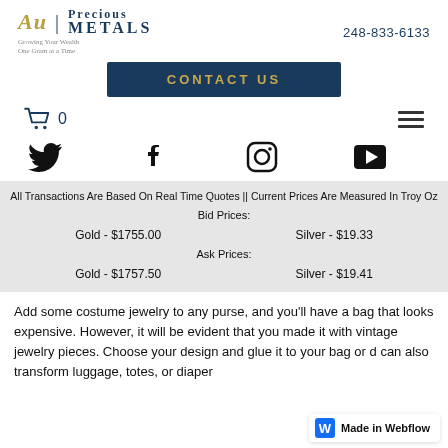[Figure (logo): Au Precious Metals logo with tagline 'Growing Your Wealth One Gram at a Time']
248-833-6133
CONTACT US
[Figure (other): Shopping cart icon with 0 items and hamburger menu icon]
[Figure (other): Social media icons: Twitter, Facebook, Instagram, YouTube]
All Transactions Are Based On Real Time Quotes || Current Prices Are Measured In Troy Oz
Bid Prices:
Gold - $1755.00
Silver - $19.33
Ask Prices:
Gold - $1757.50
Silver - $19.41
Add some costume jewelry to any purse, and you'll have a bag that looks expensive. However, it will be evident that you made it with vintage jewelry pieces. Choose your design and glue it to your bag or can also transform luggage, totes, or diaper